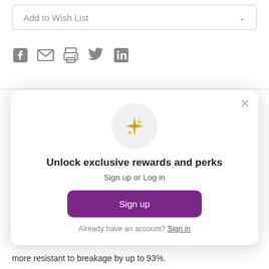Add to Wish List
[Figure (other): Social share icons: Facebook, Email, Print, Twitter, LinkedIn]
[Figure (infographic): Rewards modal popup with sparkle icon, title 'Unlock exclusive rewards and perks', subtitle 'Sign up or Log in', a purple Sign up button, and a 'Already have an account? Sign in' link]
more resistant to breakage by up to 93%.